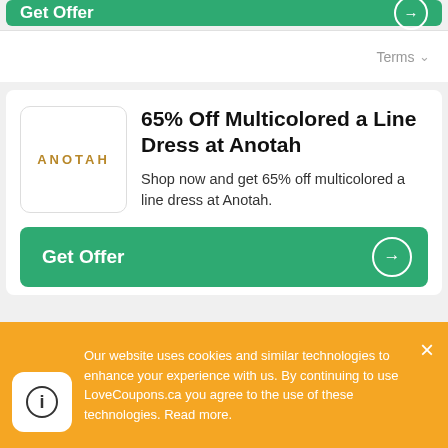[Figure (screenshot): Partial green Get Offer button at top of page, cut off]
Terms ▾
65% Off Multicolored a Line Dress at Anotah
Shop now and get 65% off multicolored a line dress at Anotah.
Get Offer
Terms ▾
Our website uses cookies and similar technologies to enhance your experience with us. By continuing to use LoveCoupons.ca you agree to the use of these technologies. Read more.